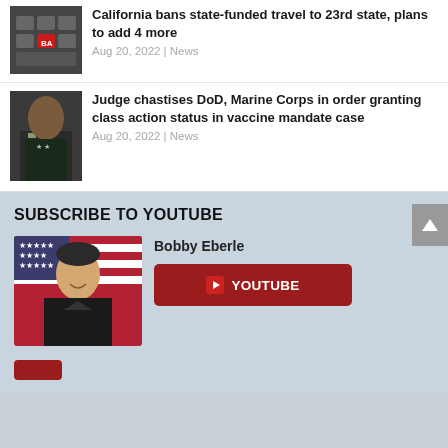[Figure (photo): Keyboard with red BA key thumbnail]
California bans state-funded travel to 23rd state, plans to add 4 more
Aug 20, 2022 | News
[Figure (photo): Military official in uniform, headshot thumbnail]
Judge chastises DoD, Marine Corps in order granting class action status in vaccine mandate case
Aug 20, 2022 | News
SUBSCRIBE TO YOUTUBE
[Figure (photo): Bobby Eberle headshot photo in front of American flag]
Bobby Eberle
YOUTUBE